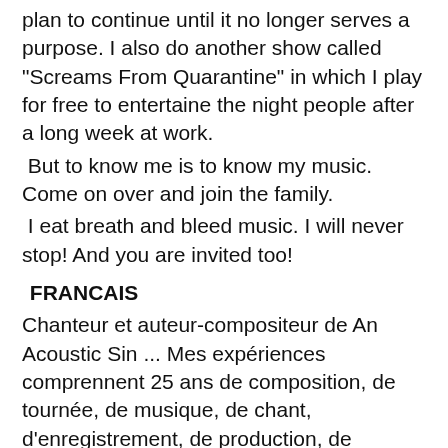plan to continue until it no longer serves a purpose. I also do another show called "Screams From Quarantine" in which I play for free to entertaine the night people after a long week at work.
But to know me is to know my music. Come on over and join the family.
I eat breath and bleed music. I will never stop! And you are invited too!
FRANCAIS
Chanteur et auteur-compositeur de An Acoustic Sin ... Mes expériences comprennent 25 ans de composition, de tournée, de musique, de chant, d'enregistrement, de production, de photographie, de production et d'édition vidéo et audio. Je suis surtout connu comme le leader et fondateur de mon groupe "An Acoustic Sin". J'ai produit et coproduit de nombreux albums. Dans ma carrière, j'ai vendu plus de 30